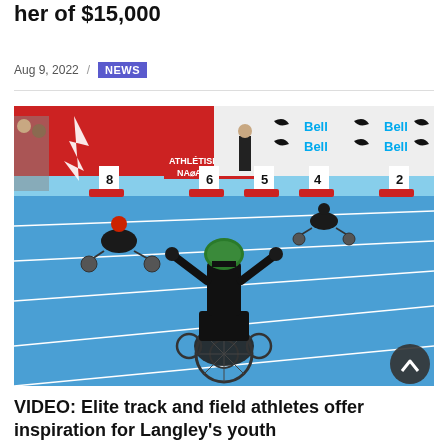her of $15,000
Aug 9, 2022 / NEWS
[Figure (photo): Wheelchair racers competing on a blue track at an athletics event. The foreground racer in a black and green helmet is leading, arms raised. Sponsor banners for Bell and Nike visible in the background. Lane numbers 2, 4, 5, 6, 8 visible on boards at the start line area.]
VIDEO: Elite track and field athletes offer inspiration for Langley's youth